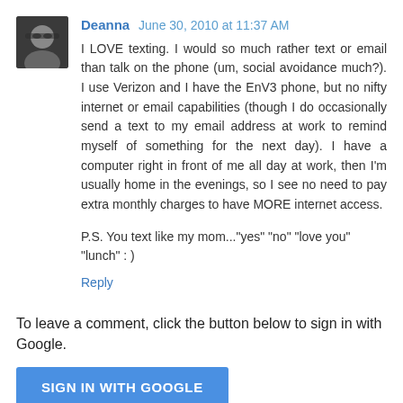[Figure (photo): Small avatar photo of a person wearing glasses, dark image with rounded corners]
Deanna  June 30, 2010 at 11:37 AM
I LOVE texting. I would so much rather text or email than talk on the phone (um, social avoidance much?). I use Verizon and I have the EnV3 phone, but no nifty internet or email capabilities (though I do occasionally send a text to my email address at work to remind myself of something for the next day). I have a computer right in front of me all day at work, then I'm usually home in the evenings, so I see no need to pay extra monthly charges to have MORE internet access.
P.S. You text like my mom..."yes" "no" "love you" "lunch" : )
Reply
To leave a comment, click the button below to sign in with Google.
SIGN IN WITH GOOGLE